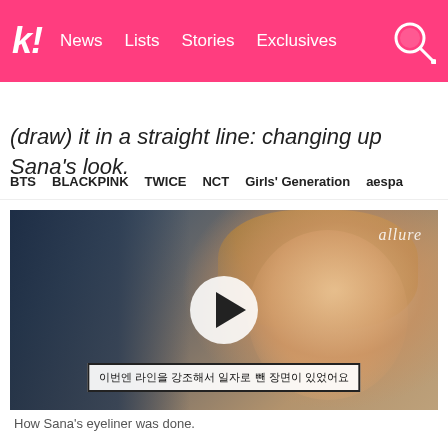k! News Lists Stories Exclusives
BTS BLACKPINK TWICE NCT Girls' Generation aespa
(draw) it in a straight line: changing up Sana's look.
[Figure (photo): Video thumbnail showing Sana from TWICE in an Allure video, with Korean subtitle text: 이번엔 라인을 강조해서 일자로 뺀 장면이 있었어요. A play button is overlaid in the center.]
How Sana's eyeliner was done.